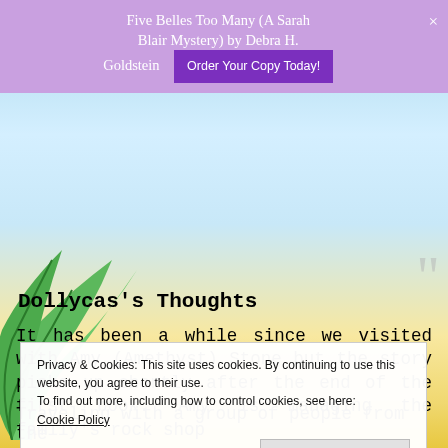Five Belles Too Many (A Sarah Blair Mystery) by Debra H. Goldstein  Order Your Copy Today!  ×
[Figure (illustration): Beach/tropical scene background with palm leaves on the left, light blue sky, sandy beach in lower portion. Large gray quotation mark in upper right.]
Dollycas's Thoughts
It has been a while since we visited with Amy (Amethyst) Stone but the story picks up shortly after the end of the first book. Amy is managing the family's rock shop
Privacy & Cookies: This site uses cookies. By continuing to use this website, you agree to their use.
To find out more, including how to control cookies, see here:
Cookie Policy
Traveling with a group of people from the